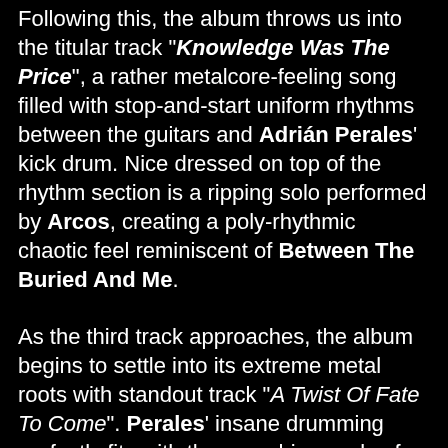Following this, the album throws us into the titular track "Knowledge Was The Price", a rather metalcore-feeling song filled with stop-and-start uniform rhythms between the guitars and Adrián Perales' kick drum. Nice dressed on top of the rhythm section is a ripping solo performed by Arcos, creating a poly-rhythmic chaotic feel reminiscent of Between The Buried And Me.
As the third track approaches, the album begins to settle into its extreme metal roots with standout track "A Twist Of Fate To Come". Perales' insane drumming perfectly fits with the anarchic growls of Satanica. A short and sweet melodic masterpiece, this track fills the litener with an energy that is uninterrupted by technicality or lulls in the action, just pure unadulterated melodic death metal on full